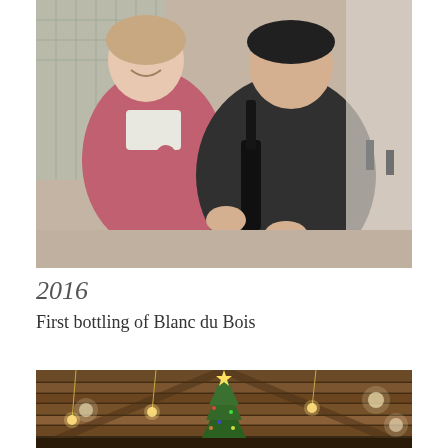[Figure (photo): Two people in a winery or production facility. A woman in a pink/rose jacket is smiling and reaching toward a handheld device or tool being held by a larger person in a dark shirt and khaki pants. Industrial equipment visible in background.]
2016
First bottling of Blanc du Bois
[Figure (photo): Interior of a rustic barn or event hall with wooden plank ceiling, hanging string lights, recessed lighting, and a decorated Christmas tree in the center background.]